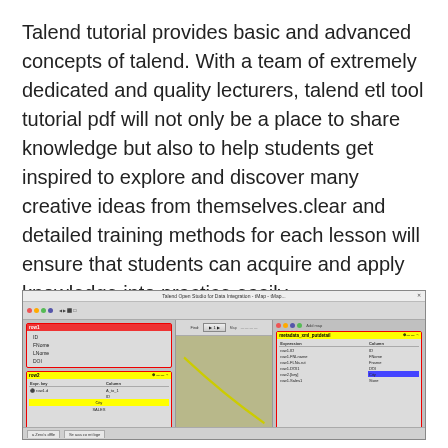Talend tutorial provides basic and advanced concepts of talend. With a team of extremely dedicated and quality lecturers, talend etl tool tutorial pdf will not only be a place to share knowledge but also to help students get inspired to explore and discover many creative ideas from themselves.clear and detailed training methods for each lesson will ensure that students can acquire and apply knowledge into practice easily.
[Figure (screenshot): Screenshot of Talend Open Studio for Data Integration showing a mapping job with left panel containing row1 schema fields (ID, FNome, LNome, DOI) and a row2 tMap component, a center canvas area with a yellow connection line between components, and a right panel showing metadata with columns (FNome, Fname, DOI, City, Store) mapped from expressions.]